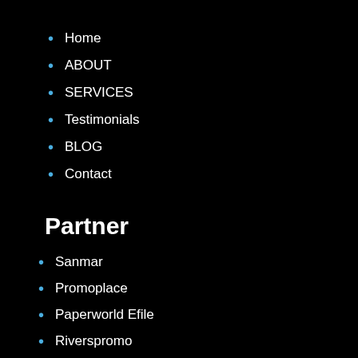Home
ABOUT
SERVICES
Testimonials
BLOG
Contact
Partner
Sanmar
Promoplace
Paperworld Efile
Riverspromo